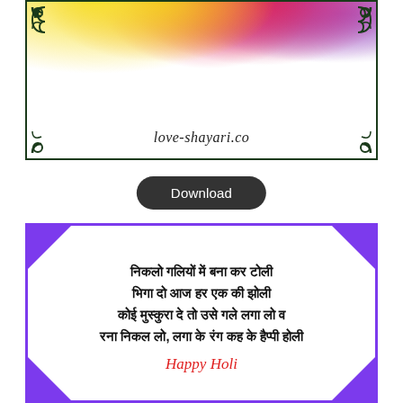[Figure (illustration): Holi color burst card with colorful powder splash (yellow, orange, red, pink, purple) over white background, decorative dark green border with scroll corner ornaments, watermark text 'love-shayari.co' at bottom center]
Download
[Figure (illustration): White card with purple triangle corner accents, containing Hindi Holi poem text and 'Happy Holi' in red cursive script]
निकलो गलियों में बना कर टोली
भिगा दो आज हर एक की झोली
कोई मुस्कुरा दे तो उसे गले लगा लो व
रना निकल लो, लगा के रंग कह के हैप्पी होली
Happy Holi